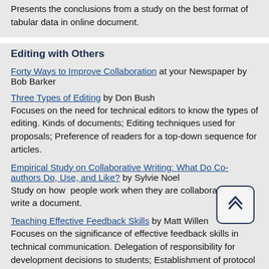Presents the conclusions from a study on the best format of tabular data in online document.
Editing with Others
Forty Ways to Improve Collaboration at your Newspaper by Bob Barker
Three Types of Editing by Don Bush
Focuses on the need for technical editors to know the types of editing. Kinds of documents; Editing techniques used for proposals; Preference of readers for a top-down sequence for articles.
Empirical Study on Collaborative Writing: What Do Co-authors Do, Use, and Like? by Sylvie Noel
Study on how people work when they are collaborating to write a document.
Teaching Effective Feedback Skills by Matt Willen
Focuses on the significance of effective feedback skills in technical communication. Delegation of responsibility for development decisions to students; Establishment of protocol for providing feedback.